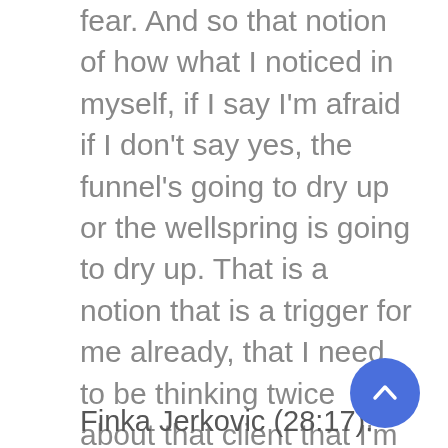fear. And so that notion of how what I noticed in myself, if I say I'm afraid if I don't say yes, the funnel's going to dry up or the wellspring is going to dry up. That is a notion that is a trigger for me already, that I need to be thinking twice about that client that I'm saying yes to. If it's being motivated from a place of, "I'm afraid if I don't say yes, what might happen," that already is a moment for me to say, "Okay, go write about this a little bit, go journal about it. Maybe go for a walk and contemplate on it for a little bit before you make that decision."
Finka Jerkovic (28:17):